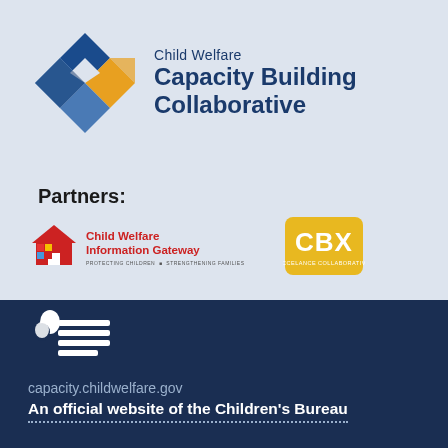[Figure (logo): Child Welfare Capacity Building Collaborative logo with diamond shapes in blue and orange and text]
Partners:
[Figure (logo): Child Welfare Information Gateway logo with house icon and colorful grid. Tagline: PROTECTING CHILDREN • STRENGTHENING FAMILIES]
[Figure (logo): CBX logo on yellow/gold rounded rectangle background]
[Figure (logo): Children's Bureau logo — stylized figures with horizontal lines, white on dark blue]
capacity.childwelfare.gov
An official website of the Children's Bureau